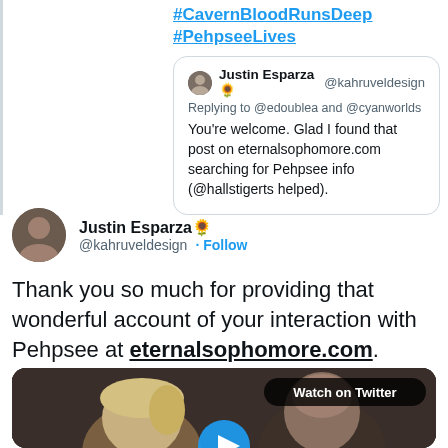#CavernBloodRunsDeep #PehpseeLives
Justin Esparza 🌻 @kahruveldesign
Replying to @edoublea and @cyanworlds
You're welcome. Glad I found that post on eternalsophomore.com searching for Pehpsee info (@hallstigerts helped).
Justin Esparza 🌻
@kahruveldesign · Follow
Thank you so much for providing that wonderful account of your interaction with Pehpsee at eternalsophomore.com.
[Figure (screenshot): Video thumbnail showing two people, a woman with blonde hair and a man, with a 'Watch on Twitter' label and a play button]